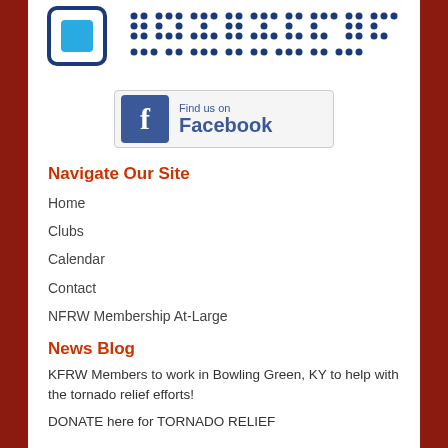[Figure (logo): Organization logo with icon and dotted text pattern at top of page]
[Figure (logo): Find us on Facebook button with blue Facebook logo icon]
Navigate Our Site
Home
Clubs
Calendar
Contact
NFRW Membership At-Large
News Blog
KFRW Members to work in Bowling Green, KY to help with the tornado relief efforts!
DONATE here for TORNADO RELIEF